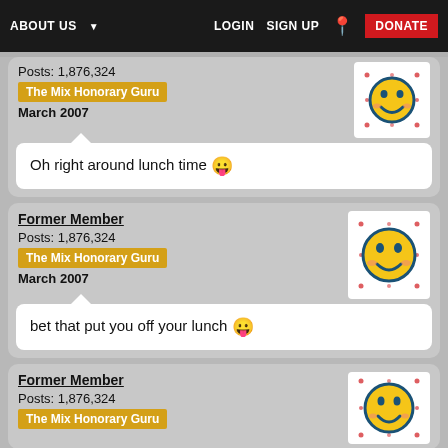ABOUT US  LOGIN  SIGN UP  DONATE
Posts: 1,876,324
The Mix Honorary Guru
March 2007
Oh right around lunch time 😛
Former Member
Posts: 1,876,324
The Mix Honorary Guru
March 2007
bet that put you off your lunch 😛
Former Member
Posts: 1,876,324
The Mix Honorary Guru